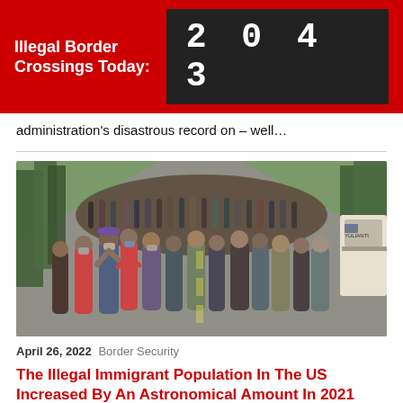Illegal Border Crossings Today: 2043
administration's disastrous record on – well…
[Figure (photo): Large crowd of migrants walking along a road, many wearing masks, photographed from street level with trees and vehicles in background.]
April 26, 2022  Border Security
The Illegal Immigrant Population In The US Increased By An Astronomical Amount In 2021